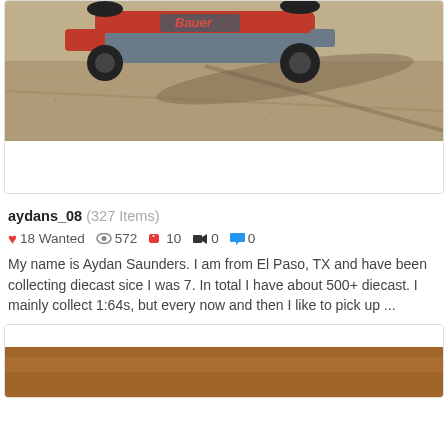[Figure (photo): A red and grey racing go-kart or dirt track race car on a brown dirt track, shot from above and side angle, with a long shadow visible on the dirt.]
aydans_08 (327 Items)
18 Wanted  572  10  0  0
My name is Aydan Saunders. I am from El Paso, TX and have been collecting diecast sice I was 7. In total I have about 500+ diecast. I mainly collect 1:64s, but every now and then I like to pick up ...
[Figure (photo): Partial view of a second card showing a brown/gold colored surface, likely another diecast car or related item, partially cut off at the bottom of the page.]